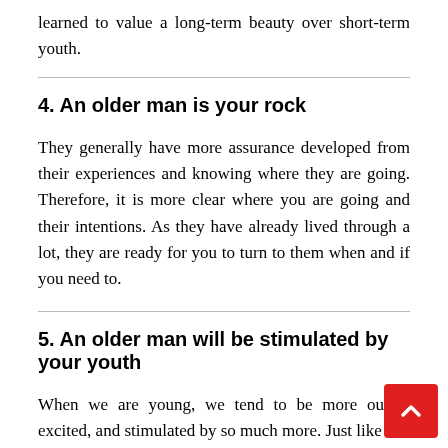learned to value a long-term beauty over short-term youth.
4. An older man is your rock
They generally have more assurance developed from their experiences and knowing where they are going. Therefore, it is more clear where you are going and their intentions. As they have already lived through a lot, they are ready for you to turn to them when and if you need to.
5. An older man will be stimulated by your youth
When we are young, we tend to be more outgoing, excited, and stimulated by so much more. Just like